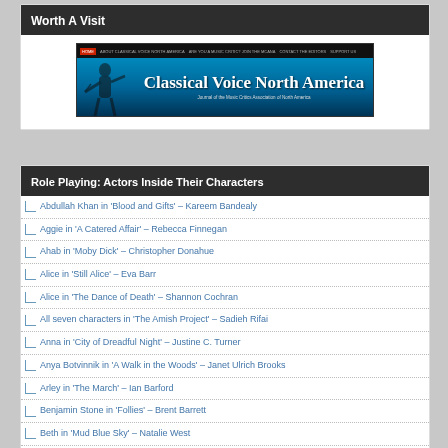Worth A Visit
[Figure (screenshot): Classical Voice North America website banner — teal/blue background with musician silhouette and navigation bar]
Role Playing: Actors Inside Their Characters
Abdullah Khan in 'Blood and Gifts' – Kareem Bandealy
Aggie in 'A Catered Affair' – Rebecca Finnegan
Ahab in 'Moby Dick' – Christopher Donahue
Alice in 'Still Alice' – Eva Barr
Alice in 'The Dance of Death' – Shannon Cochran
All seven characters in 'The Amish Project' – Sadieh Rifai
Anna in 'City of Dreadful Night' – Justine C. Turner
Anya Botvinnik in 'A Walk in the Woods' – Janet Ulrich Brooks
Arley in 'The March' – Ian Barford
Benjamin Stone in 'Follies' – Brent Barrett
Beth in 'Mud Blue Sky' – Natalie West
Bev/Kathy in 'Clybourne Park' – Kirsten Fitzgerald